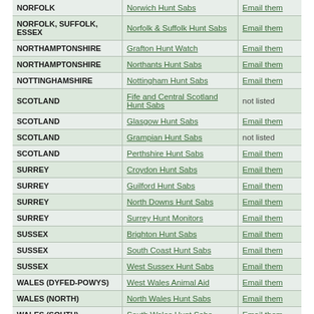| Region | Group | Contact |
| --- | --- | --- |
| NORFOLK | Norwich Hunt Sabs | Email them |
| NORFOLK, SUFFOLK, ESSEX | Norfolk & Suffolk Hunt Sabs | Email them |
| NORTHAMPTONSHIRE | Grafton Hunt Watch | Email them |
| NORTHAMPTONSHIRE | Northants Hunt Sabs | Email them |
| NOTTINGHAMSHIRE | Nottingham Hunt Sabs | Email them |
| SCOTLAND | Fife and Central Scotland Hunt Sabs | not listed |
| SCOTLAND | Glasgow Hunt Sabs | Email them |
| SCOTLAND | Grampian Hunt Sabs | not listed |
| SCOTLAND | Perthshire Hunt Sabs | Email them |
| SURREY | Croydon Hunt Sabs | Email them |
| SURREY | Guilford Hunt Sabs | Email them |
| SURREY | North Downs Hunt Sabs | Email them |
| SURREY | Surrey Hunt Monitors | Email them |
| SUSSEX | Brighton Hunt Sabs | Email them |
| SUSSEX | South Coast Hunt Sabs | Email them |
| SUSSEX | West Sussex Hunt Sabs | Email them |
| WALES (DYFED-POWYS) | West Wales Animal Aid | Email them |
| WALES (NORTH) | North Wales Hunt Sabs | Email them |
| WALES (SOUTH) | South Wales Hunt Sabs | Email them |
| WEST MERCIA, | ... | Email them |